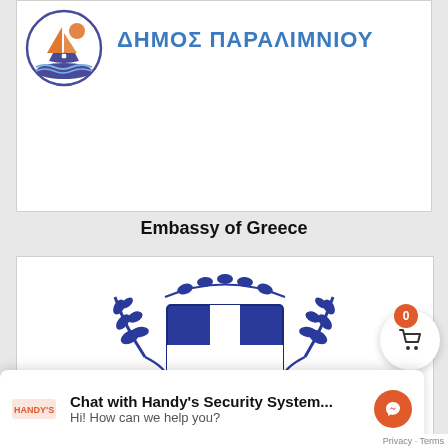[Figure (logo): Municipality of Paralimni logo: orange sailboat with blue waves inside a circular emblem]
ΔΗΜΟΣ ΠΑΡΑΛΙΜΝΙΟΥ
Embassy of Greece
[Figure (logo): Embassy of Greece coat of arms: blue and white cross shield surrounded by olive branches]
Chat with Handy's Security System...
Hi! How can we help you?
Privacy · Terms